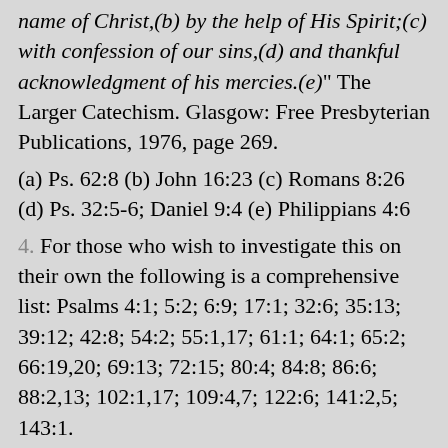name of Christ,(b) by the help of His Spirit;(c) with confession of our sins,(d) and thankful acknowledgment of his mercies.(e)" The Larger Catechism. Glasgow: Free Presbyterian Publications, 1976, page 269.
(a) Ps. 62:8 (b) John 16:23 (c) Romans 8:26 (d) Ps. 32:5-6; Daniel 9:4 (e) Philippians 4:6
4. For those who wish to investigate this on their own the following is a comprehensive list: Psalms 4:1; 5:2; 6:9; 17:1; 32:6; 35:13; 39:12; 42:8; 54:2; 55:1,17; 61:1; 64:1; 65:2; 66:19,20; 69:13; 72:15; 80:4; 84:8; 86:6; 88:2,13; 102:1,17; 109:4,7; 122:6; 141:2,5; 143:1.
5. Yet far from condemning the use of the Psalms in our prayers or as an aid to prayer, I would commend them as well as the whole of scriptures for this purpose. Indeed, it would